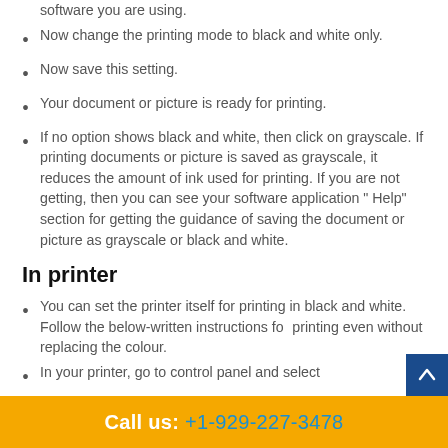software you are using.
Now change the printing mode to black and white only.
Now save this setting.
Your document or picture is ready for printing.
If no option shows black and white, then click on grayscale. If printing documents or picture is saved as grayscale, it reduces the amount of ink used for printing. If you are not getting, then you can see your software application " Help" section for getting the guidance of saving the document or picture as grayscale or black and white.
In printer
You can set the printer itself for printing in black and white. Follow the below-written instructions for printing even without replacing the colour.
In your printer, go to control panel and select
Call us: +1-929-227-3478